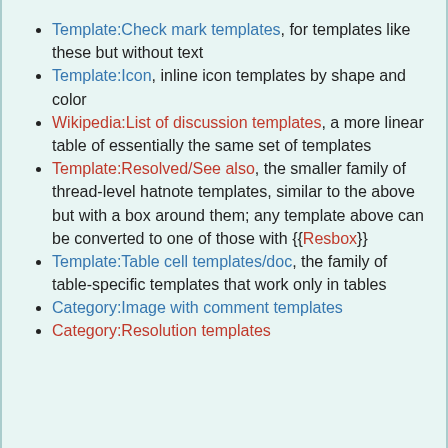Template:Check mark templates, for templates like these but without text
Template:Icon, inline icon templates by shape and color
Wikipedia:List of discussion templates, a more linear table of essentially the same set of templates
Template:Resolved/See also, the smaller family of thread-level hatnote templates, similar to the above but with a box around them; any template above can be converted to one of those with {{Resbox}}
Template:Table cell templates/doc, the family of table-specific templates that work only in tables
Category:Image with comment templates
Category:Resolution templates